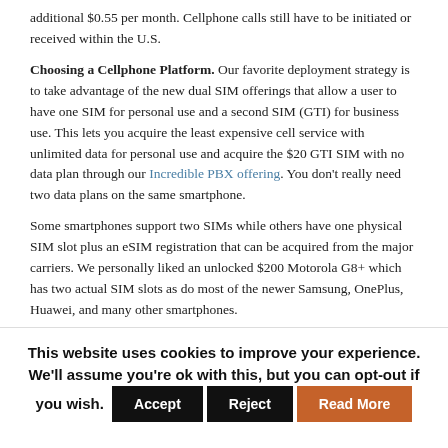additional $0.55 per month. Cellphone calls still have to be initiated or received within the U.S.
Choosing a Cellphone Platform. Our favorite deployment strategy is to take advantage of the new dual SIM offerings that allow a user to have one SIM for personal use and a second SIM (GTI) for business use. This lets you acquire the least expensive cell service with unlimited data for personal use and acquire the $20 GTI SIM with no data plan through our Incredible PBX offering. You don't really need two data plans on the same smartphone.
Some smartphones support two SIMs while others have one physical SIM slot plus an eSIM registration that can be acquired from the major carriers. We personally liked an unlocked $200 Motorola G8+ which has two actual SIM slots as do most of the newer Samsung, OnePlus, Huawei, and many other smartphones.
This website uses cookies to improve your experience. We'll assume you're ok with this, but you can opt-out if you wish. Accept Reject Read More